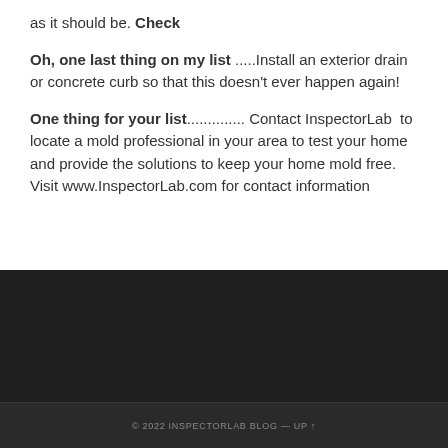as it should be. Check
Oh, one last thing on my list .....Install an exterior drain or concrete curb so that this doesn't ever happen again!
One thing for your list.............. Contact InspectorLab  to locate a mold professional in your area to test your home and provide the solutions to keep your home mold free. Visit www.InspectorLab.com for contact information
© 2022 INSPECTORLAB BLOG — UP ↑